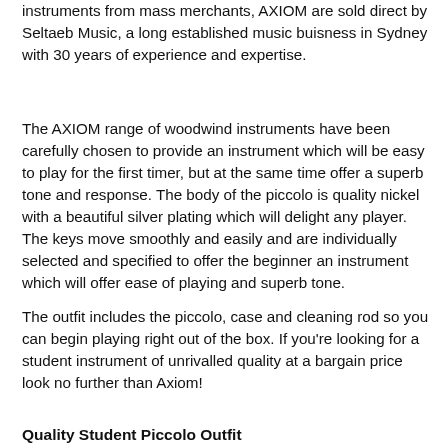instruments from mass merchants, AXIOM are sold direct by Seltaeb Music, a long established music buisness in Sydney with 30 years of experience and expertise.
The AXIOM range of woodwind instruments have been carefully chosen to provide an instrument which will be easy to play for the first timer, but at the same time offer a superb tone and response. The body of the piccolo is quality nickel with a beautiful silver plating which will delight any player. The keys move smoothly and easily and are individually selected and specified to offer the beginner an instrument which will offer ease of playing and superb tone.
The outfit includes the piccolo, case and cleaning rod so you can begin playing right out of the box. If you're looking for a student instrument of unrivalled quality at a bargain price look no further than Axiom!
Quality Student Piccolo Outfit